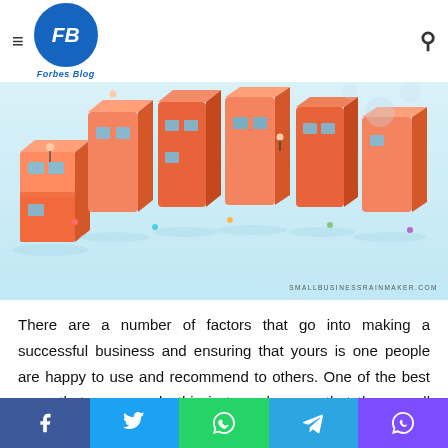Forbes Blog
[Figure (illustration): Colorful 3D isometric illustration of orange block letters spelling 'SUCCESS' or similar word, with tiny people figures on and around the letters, light blue background. Watermark: SMALLBUSINESSRAINMAKER.COM]
There are a number of factors that go into making a successful business and ensuring that yours is one people are happy to use and recommend to others. One of the best ways that you can do this is to make sure that the overall quality of your product is as good as it can be. There are a number of different means by which you can improve the overall quality of your product, and these include, but are not limited to, some
Facebook | Twitter | WhatsApp | Telegram | Viber